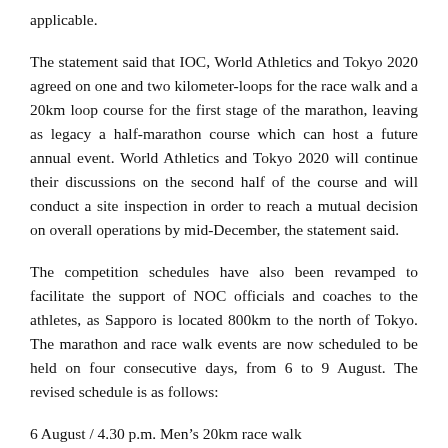applicable.
The statement said that IOC, World Athletics and Tokyo 2020 agreed on one and two kilometer-loops for the race walk and a 20km loop course for the first stage of the marathon, leaving as legacy a half-marathon course which can host a future annual event. World Athletics and Tokyo 2020 will continue their discussions on the second half of the course and will conduct a site inspection in order to reach a mutual decision on overall operations by mid-December, the statement said.
The competition schedules have also been revamped to facilitate the support of NOC officials and coaches to the athletes, as Sapporo is located 800km to the north of Tokyo. The marathon and race walk events are now scheduled to be held on four consecutive days, from 6 to 9 August. The revised schedule is as follows:
6 August / 4.30 p.m. Men’s 20km race walk